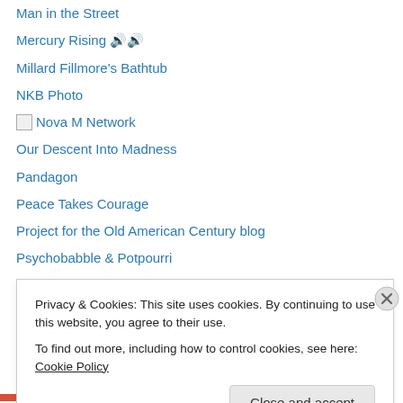Man in the Street
Mercury Rising 🔊🔊
Millard Fillmore's Bathtub
NKB Photo
[img] Nova M Network
Our Descent Into Madness
Pandagon
Peace Takes Courage
Project for the Old American Century blog
Psychobabble & Potpourri
Psychohistory
[img] Rainforest site
Reality Based News Feed
Roots of Math Humor
Privacy & Cookies: This site uses cookies. By continuing to use this website, you agree to their use. To find out more, including how to control cookies, see here: Cookie Policy
Close and accept